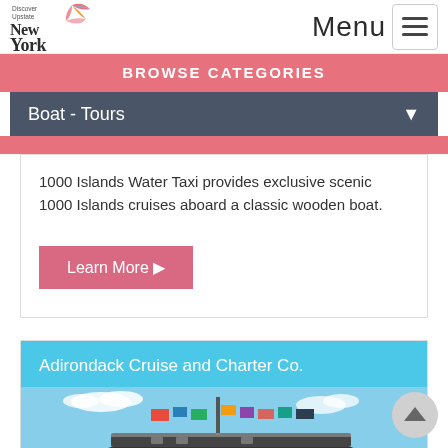Discover Upstate New York — Menu
BROWSE CATEGORIES
Boat - Tours
1000 Islands Water Taxi provides exclusive scenic 1000 Islands cruises aboard a classic wooden boat.
Learn More ▶
Adirondack Cruise and Charter Co.
[Figure (photo): Photo of a boat with colorful flags displayed, under a blue sky with clouds]